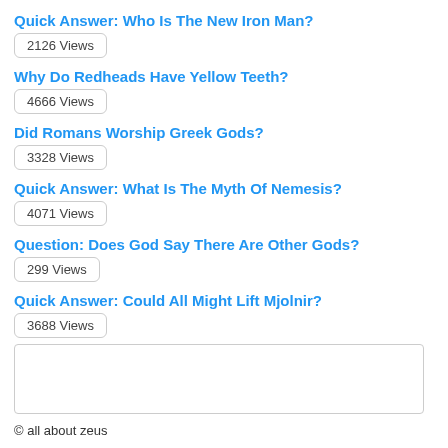Quick Answer: Who Is The New Iron Man?
2126 Views
Why Do Redheads Have Yellow Teeth?
4666 Views
Did Romans Worship Greek Gods?
3328 Views
Quick Answer: What Is The Myth Of Nemesis?
4071 Views
Question: Does God Say There Are Other Gods?
299 Views
Quick Answer: Could All Might Lift Mjolnir?
3688 Views
© all about zeus